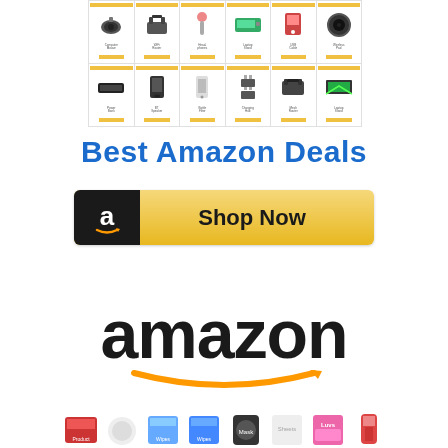[Figure (screenshot): Amazon product grid showing 12 electronic/tech product thumbnails in two rows of 6, each with yellow accent bars and small product text]
Best Amazon Deals
[Figure (illustration): Shop Now button with Amazon 'a' icon on black background on left, gradient yellow background, bold text 'Shop Now']
[Figure (logo): Amazon logo in large black bold text with orange smile/arrow underneath]
[Figure (screenshot): Row of product thumbnails at bottom including household/grocery items, Luvs brand visible]